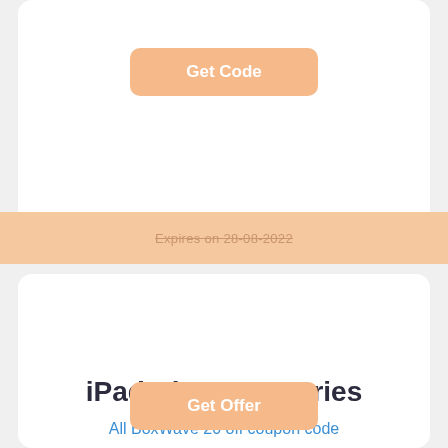Get Code
Expires on 28-08-2022
iPad Air Accessories
All BoxWave 20 off coupon code
Get Offer